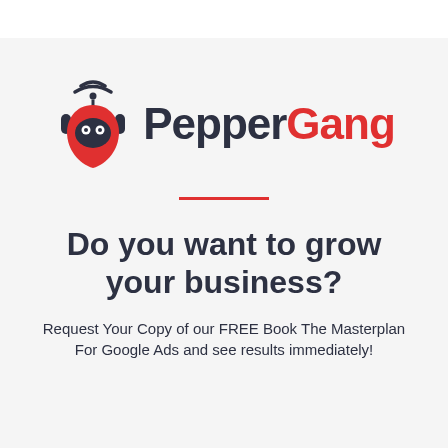[Figure (logo): PepperGang logo: red pepper/robot mascot icon with wifi signal on top, robot face with round eyes, pepper body shape in red; text 'Pepper' in dark navy and 'Gang' in red, bold, large font]
Do you want to grow your business?
Request Your Copy of our FREE Book The Masterplan For Google Ads and see results immediately!